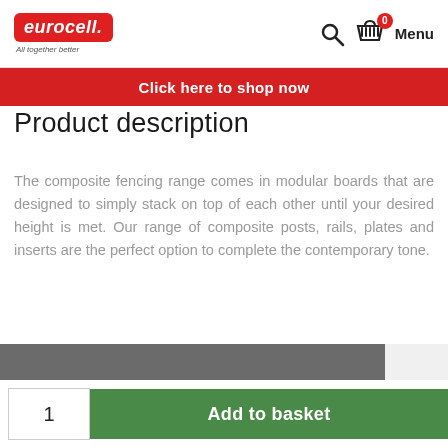eurocell. All together better | Search | Basket 0 | Menu
Click here to shop now
Product description
The composite fencing range comes in modular boards that are designed to simply stack on top of each other until your desired height is met. Our range of composite posts, rails, plates and inserts are the perfect option to complete the contemporary tone.
1  Add to basket